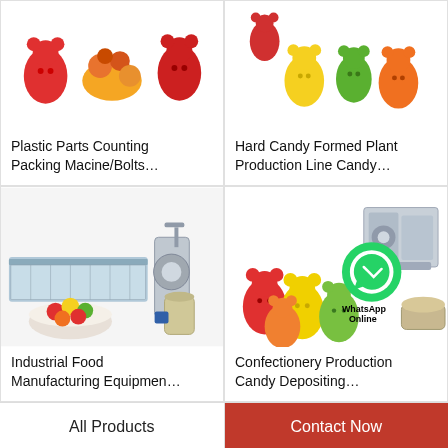[Figure (photo): Colorful gummy bear candies and plastic parts - product image for Plastic Parts Counting Packing Machine]
Plastic Parts Counting Packing Macine/Bolts…
[Figure (photo): Hard candy and gummy bears - product image for Hard Candy Formed Plant Production Line]
Hard Candy Formed Plant Production Line Candy…
[Figure (photo): Industrial food manufacturing equipment and gummy candy in bowl]
Industrial Food Manufacturing Equipmen…
[Figure (photo): Confectionery candy depositing machinery with gummy bears and WhatsApp Online overlay]
Confectionery Production Candy Depositing…
All Products
Contact Now